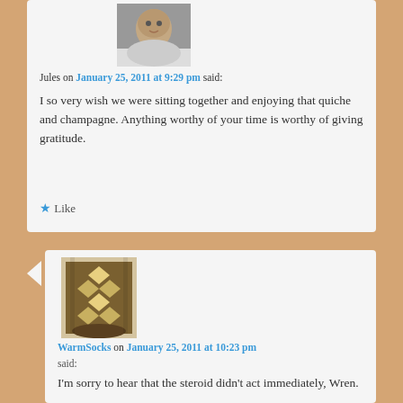[Figure (photo): Avatar photo of Jules - a person's face/portrait in grayscale]
Jules on January 25, 2011 at 9:29 pm said:
I so very wish we were sitting together and enjoying that quiche and champagne. Anything worthy of your time is worthy of giving gratitude.
★ Like
[Figure (photo): Avatar photo of WarmSocks - a knitted sock with brown and white pattern]
WarmSocks on January 25, 2011 at 10:23 pm said:
I'm sorry to hear that the steroid didn't act immediately, Wren.